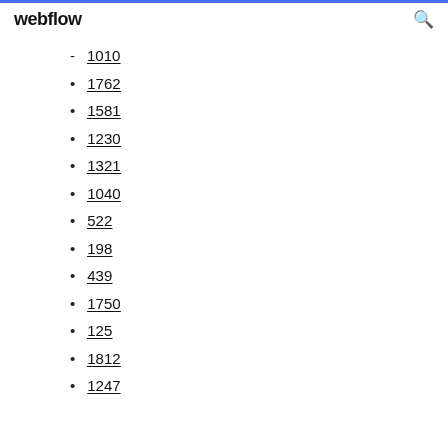webflow
1010
1762
1581
1230
1321
1040
522
198
439
1750
125
1812
1247